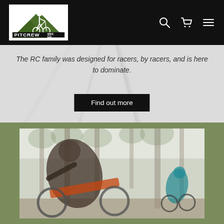Pitcrew Bike Co. navigation bar with logo, search, cart, and menu icons
The RC family was designed for racers, by racers, and is here to dominate.
Find out more
[Figure (photo): Mountain biker performing a trick or descent through forested trail, orange bike visible, second rider in background right]